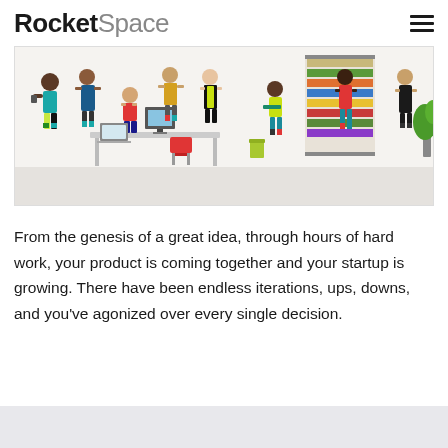RocketSpace
[Figure (illustration): Colorful illustration of diverse startup/office people working together in a shared workspace with desks, computers, and bookshelves]
From the genesis of a great idea, through hours of hard work, your product is coming together and your startup is growing. There have been endless iterations, ups, downs, and you've agonized over every single decision.